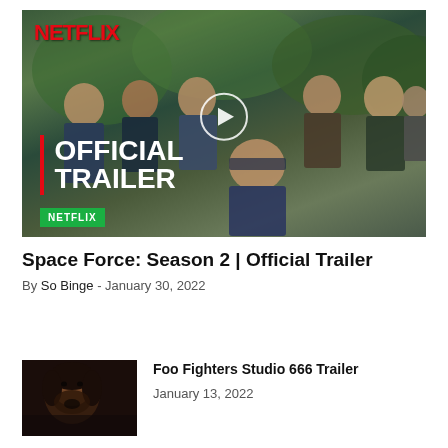[Figure (screenshot): Netflix Space Force Season 2 Official Trailer thumbnail with play button overlay, OFFICIAL TRAILER text, NETFLIX logo at top left and green Netflix badge at bottom left]
Space Force: Season 2 | Official Trailer
By So Binge - January 30, 2022
[Figure (photo): Thumbnail of a man with long dark hair and beard, dark moody lighting, for Foo Fighters Studio 666 Trailer]
Foo Fighters Studio 666 Trailer
January 13, 2022